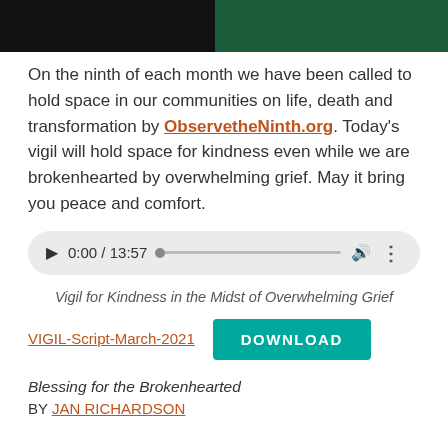[Figure (photo): Dark header image with dark left panel and dark green right panel]
On the ninth of each month we have been called to hold space in our communities on life, death and transformation by ObservetheNinth.org. Today's vigil will hold space for kindness even while we are brokenhearted by overwhelming grief. May it bring you peace and comfort.
[Figure (screenshot): Audio player showing 0:00 / 13:57 with play button, progress bar, volume and more icons]
Vigil for Kindness in the Midst of Overwhelming Grief
VIGIL-Script-March-2021
DOWNLOAD
Blessing for the Brokenhearted
BY JAN RICHARDSON